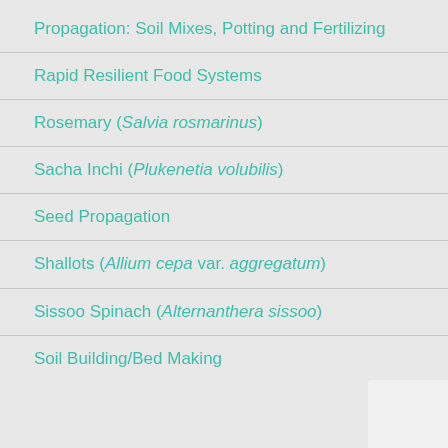Propagation: Soil Mixes, Potting and Fertilizing
Rapid Resilient Food Systems
Rosemary (Salvia rosmarinus)
Sacha Inchi (Plukenetia volubilis)
Seed Propagation
Shallots (Allium cepa var. aggregatum)
Sissoo Spinach (Alternanthera sissoo)
Soil Building/Bed Making